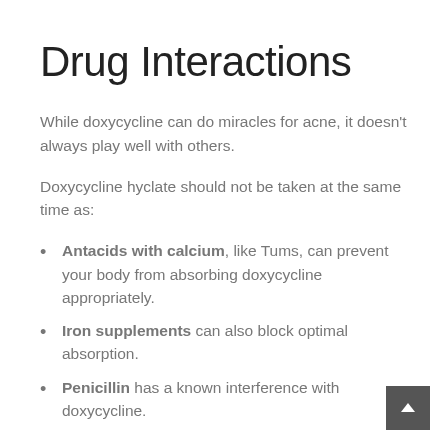Drug Interactions
While doxycycline can do miracles for acne, it doesn't always play well with others.
Doxycycline hyclate should not be taken at the same time as:
Antacids with calcium, like Tums, can prevent your body from absorbing doxycycline appropriately.
Iron supplements can also block optimal absorption.
Penicillin has a known interference with doxycycline.